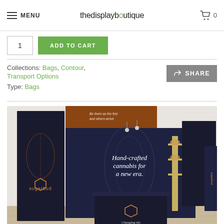MENU | thedisplayboutique | cart 0
1  ADD TO CART
Collections: Bags, Contour, Transport Options
Type: Bags
[Figure (photo): Trade show display booth for Sugarbud brand featuring dark navy/black modular panels with copper botanical leaf graphics, text reading 'Hand-crafted cannabis for a new era.' and 'Changing the cannabis narrative.' with a branded counter and shelving unit]
SHARE